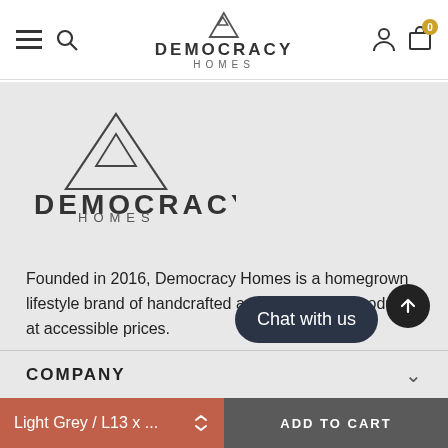Democracy Homes — navigation header with hamburger menu, search, logo, account, and cart icons
[Figure (logo): Democracy Homes logo with mountain/triangle icon above the text DEMOCRACY HOMES]
Founded in 2016, Democracy Homes is a homegrown lifestyle brand of handcrafted and handpicked products at accessible prices.
Terms & Conditions
Privacy Policy
COMPANY
Light Grey / L13 x ...
ADD TO CART
Chat with us